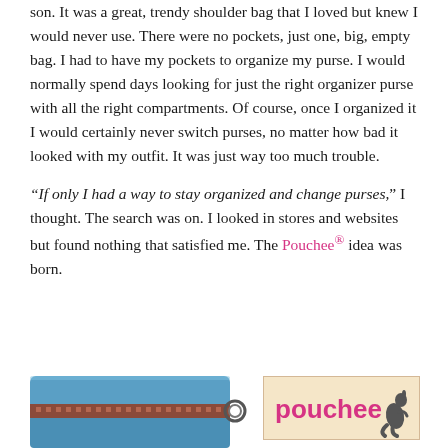son. It was a great, trendy shoulder bag that I loved but knew I would never use. There were no pockets, just one, big, empty bag. I had to have my pockets to organize my purse. I would normally spend days looking for just the right organizer purse with all the right compartments. Of course, once I organized it I would certainly never switch purses, no matter how bad it looked with my outfit. It was just way too much trouble.

“If only I had a way to stay organized and change purses,” I thought. The search was on. I looked in stores and websites but found nothing that satisfied me. The Pouchee® idea was born.
[Figure (photo): Photo of a blue patterned bag/organizer with a ring zipper pull, partially visible at the bottom left of the page]
[Figure (logo): Pouchee brand logo in pink text with a kangaroo icon on a tan/beige background in a rectangular box]